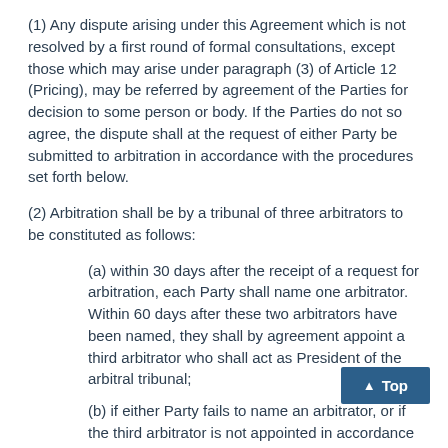(1) Any dispute arising under this Agreement which is not resolved by a first round of formal consultations, except those which may arise under paragraph (3) of Article 12 (Pricing), may be referred by agreement of the Parties for decision to some person or body. If the Parties do not so agree, the dispute shall at the request of either Party be submitted to arbitration in accordance with the procedures set forth below.
(2) Arbitration shall be by a tribunal of three arbitrators to be constituted as follows:
(a) within 30 days after the receipt of a request for arbitration, each Party shall name one arbitrator. Within 60 days after these two arbitrators have been named, they shall by agreement appoint a third arbitrator who shall act as President of the arbitral tribunal;
(b) if either Party fails to name an arbitrator, or if the third arbitrator is not appointed in accordance with